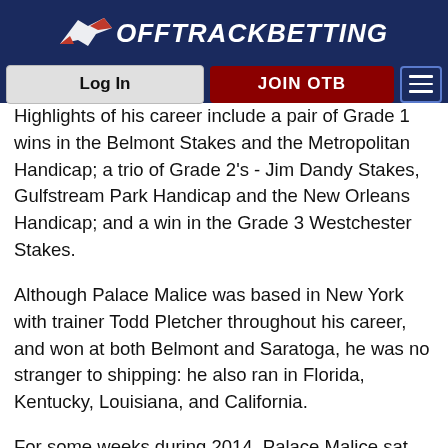OffTrackBetting
Highlights of his career include a pair of Grade 1 wins in the Belmont Stakes and the Metropolitan Handicap; a trio of Grade 2's - Jim Dandy Stakes, Gulfstream Park Handicap and the New Orleans Handicap; and a win in the Grade 3 Westchester Stakes.
Although Palace Malice was based in New York with trainer Todd Pletcher throughout his career, and won at both Belmont and Saratoga, he was no stranger to shipping: he also ran in Florida, Kentucky, Louisiana, and California.
For some weeks during 2014, Palace Malice sat atop the NTRA's "Top Thoroughbred" poll, thanks to going